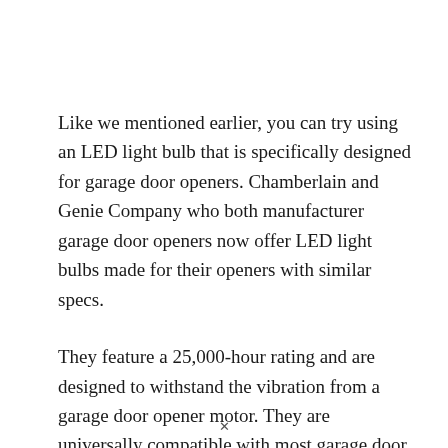Like we mentioned earlier, you can try using an LED light bulb that is specifically designed for garage door openers. Chamberlain and Genie Company who both manufacturer garage door openers now offer LED light bulbs made for their openers with similar specs.
They feature a 25,000-hour rating and are designed to withstand the vibration from a garage door opener motor. They are universally compatible with most garage door openers on the